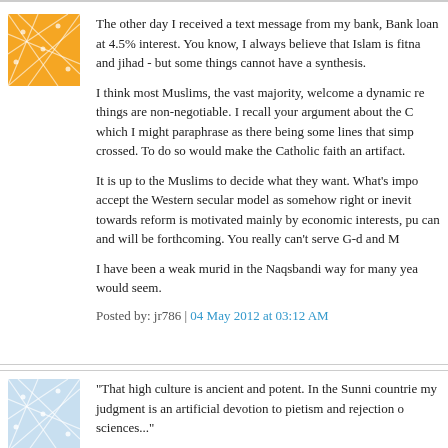[Figure (illustration): Orange geometric web/network pattern avatar icon]
The other day I received a text message from my bank, Bank loan at 4.5% interest. You know, I always believe that Islam is fitna and jihad - but some things cannot have a synthesis.
I think most Muslims, the vast majority, welcome a dynamic re things are non-negotiable. I recall your argument about the C which I might paraphrase as there being some lines that simp crossed. To do so would make the Catholic faith an artifact.
It is up to the Muslims to decide what they want. What's impo accept the Western secular model as somehow right or inevit towards reform is motivated mainly by economic interests, pu can and will be forthcoming. You really can't serve G-d and M
I have been a weak murid in the Naqsbandi way for many yea would seem.
Posted by: jr786 | 04 May 2012 at 03:12 AM
[Figure (illustration): Light blue geometric web/network pattern avatar icon]
"That high culture is ancient and potent. In the Sunni countrie my judgment is an artificial devotion to pietism and rejection o sciences..."